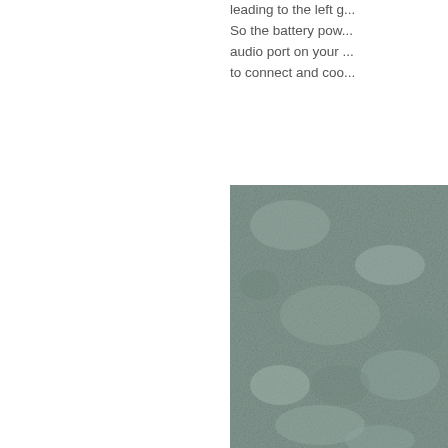leading to the left g... So the battery pow... audio port on your ... to connect and coo...
[Figure (photo): A photograph showing a gray-green textured surface, likely concrete or stone material, occupying the right column of the page from approximately the middle to the bottom.]